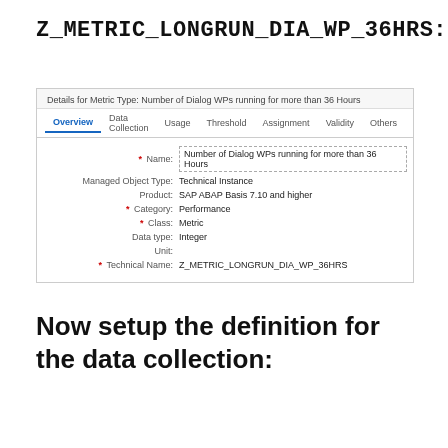Z_METRIC_LONGRUN_DIA_WP_36HRS:
[Figure (screenshot): SAP solution manager UI screenshot showing metric type details form with fields: Name (Number of Dialog WPs running for more than 36 Hours), Managed Object Type (Technical Instance), Product (SAP ABAP Basis 7.10 and higher), Category (Performance), Class (Metric), Data type (Integer), Unit (empty), Technical Name (Z_METRIC_LONGRUN_DIA_WP_36HRS). Tabs: Overview (active), Data Collection, Usage, Threshold, Assignment, Validity, Others.]
Now setup the definition for the data collection: